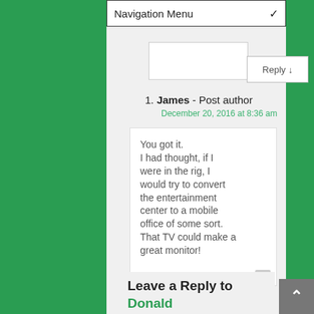Navigation Menu
Reply ↓
1. James - Post author
December 20, 2016 at 8:36 am
You got it. I had thought, if I were in the rig, I would try to convert the entertainment center to a mobile office of some sort. That TV could make a great monitor!
Leave a Reply to Donald Pfaffl Cancel reply